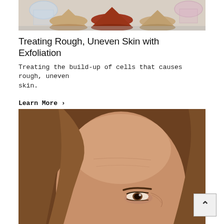[Figure (photo): Colorful powder pigments and glass containers on a reflective surface, shown partially at top of page]
Treating Rough, Uneven Skin with Exfoliation
Treating the build-up of cells that causes rough, uneven skin.
Learn More >
[Figure (photo): Close-up portrait of a middle-aged woman with brown wavy hair, showing the upper half of her face with visible forehead and eye area]